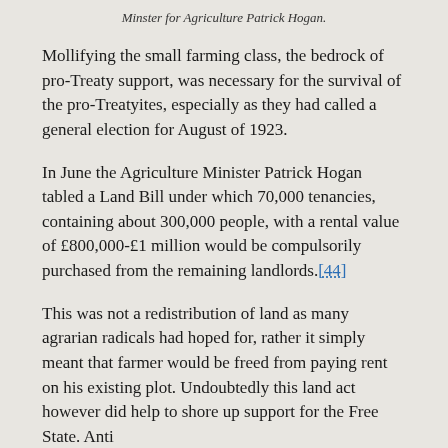Minster for Agriculture Patrick Hogan.
Mollifying the small farming class, the bedrock of pro-Treaty support, was necessary for the survival of the pro-Treatyites, especially as they had called a general election for August of 1923.
In June the Agriculture Minister Patrick Hogan tabled a Land Bill under which 70,000 tenancies, containing about 300,000 people, with a rental value of £800,000-£1 million would be compulsorily purchased from the remaining landlords.[44]
This was not a redistribution of land as many agrarian radicals had hoped for, rather it simply meant that farmer would be freed from paying rent on his existing plot. Undoubtedly this land act however did help to shore up support for the Free State. Anti